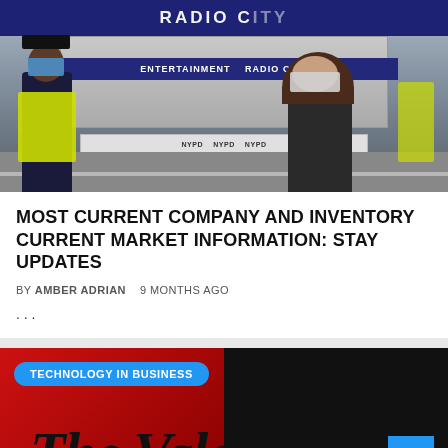[Figure (photo): People wearing face masks outside Radio City Music Hall with NYPD barriers, a police officer in high-vis vest on the left and a woman on the right]
MOST CURRENT COMPANY AND INVENTORY CURRENT MARKET INFORMATION: STAY UPDATES
BY AMBER ADRIAN   9 MONTHS AGO
...
[Figure (photo): Technology in Business article card showing The Vale logo in red and black with a blue badge label reading TECHNOLOGY IN BUSINESS and a blue scroll-to-top button]
We are using your website to view the most relevant...